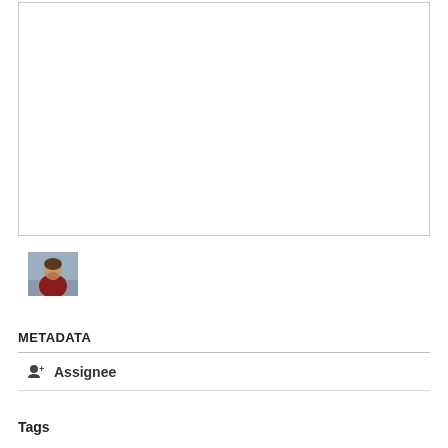[Figure (photo): A small avatar/profile photo of a person wearing a red top, shown as a thumbnail image.]
METADATA
+ Assignee
Tags